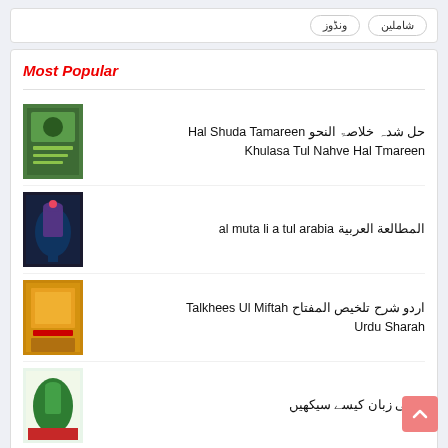شاملین | ونڈوز
Most Popular
[Figure (illustration): Book cover for Hal Shuda Tamareen Khulasa Tul Nahve - green colored book]
حل شدہ خلاصۃ النحو Hal Shuda Tamareen Khulasa Tul Nahve Hal Tmareen
[Figure (illustration): Book cover for Al Mutali a tul arabia - dark colored with mosque image]
المطالعة العربية al muta li a tul arabia
[Figure (illustration): Book cover for Talkhees Ul Miftah Urdu Sharah - colorful book]
اردو شرح تلخیص المفتاح Talkhees Ul Miftah Urdu Sharah
[Figure (illustration): Book cover for Arabi Zaban Kaise Seekhein - green dome image]
عربی زبان کیسے سیکھیں